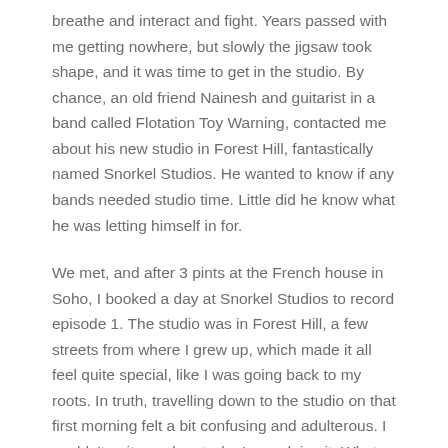breathe and interact and fight. Years passed with me getting nowhere, but slowly the jigsaw took shape, and it was time to get in the studio. By chance, an old friend Nainesh and guitarist in a band called Flotation Toy Warning, contacted me about his new studio in Forest Hill, fantastically named Snorkel Studios. He wanted to know if any bands needed studio time. Little did he know what he was letting himself in for.
We met, and after 3 pints at the French house in Soho, I booked a day at Snorkel Studios to record episode 1. The studio was in Forest Hill, a few streets from where I grew up, which made it all feel quite special, like I was going back to my roots. In truth, travelling down to the studio on that first morning felt a bit confusing and adulterous. I couldn't quite work out why I was doing it. What was I going to do with more recordings anyway? By the return journey, 10 hours later, I was on cloud nine. Another studio session followed, and then another. And well, one thing led to another…